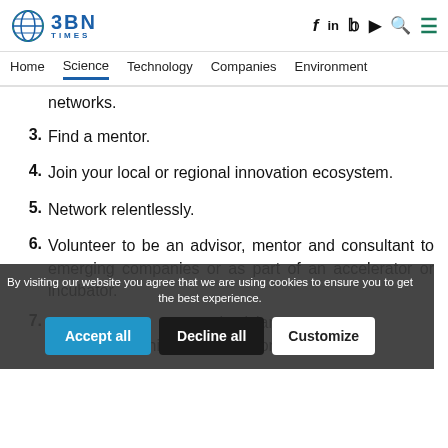BBN TIMES | f in y ▶ Q ≡
Home | Science | Technology | Companies | Environment
networks.
3. Find a mentor.
4. Join your local or regional innovation ecosystem.
5. Network relentlessly.
6. Volunteer to be an advisor, mentor and consultant to emerging companies or as part of an accelerator or incubator.
7. … physician entrepreneurship and innovation education.
By visiting our website you agree that we are using cookies to ensure you to get the best experience.